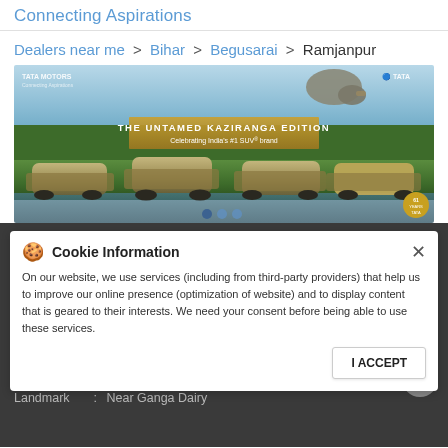Connecting Aspirations
Dealers near me > Bihar > Begusarai > Ramjanpur
[Figure (photo): Tata Motors Kaziranga Edition advertisement banner showing SUVs in a wildlife landscape with a rhino, text 'THE UNTAMED KAZIRANGA EDITION - Celebrating India's #1 SUV brand']
Cookie Information
On our website, we use services (including from third-party providers) that help us to improve our online presence (optimization of website) and to display content that is geared to their interests. We need your consent before being able to use these services.
Tata Motors Cars Showroom - Ganga Vehicles, Ramjanpur
Ground Floor
Ramjanpur
Begusarai - 851129
Landmark : Near Ganga Dairy